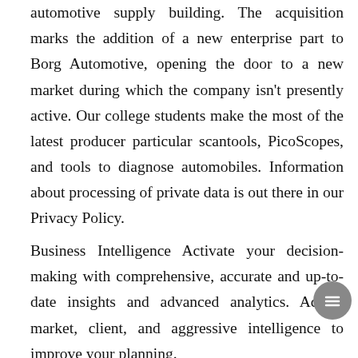automotive supply building. The acquisition marks the addition of a new enterprise part to Borg Automotive, opening the door to a new market during which the company isn't presently active. Our college students make the most of the latest producer particular scantools, PicoScopes, and tools to diagnose automobiles. Information about processing of private data is out there in our Privacy Policy.
Business Intelligence Activate your decision-making with comprehensive, accurate and up-to-date insights and advanced analytics. Access market, client, and aggressive intelligence to improve your planning.